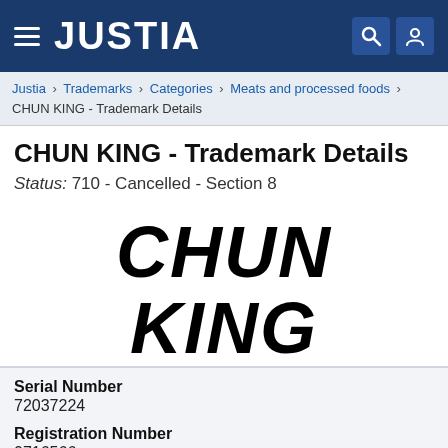JUSTIA
Justia > Trademarks > Categories > Meats and processed foods > CHUN KING - Trademark Details
CHUN KING - Trademark Details
Status: 710 - Cancelled - Section 8
[Figure (logo): CHUN KING logo in stylized gothic/horror black lettering, two lines: CHUN on top, KING on bottom]
Serial Number
72037224
Registration Number
0716566